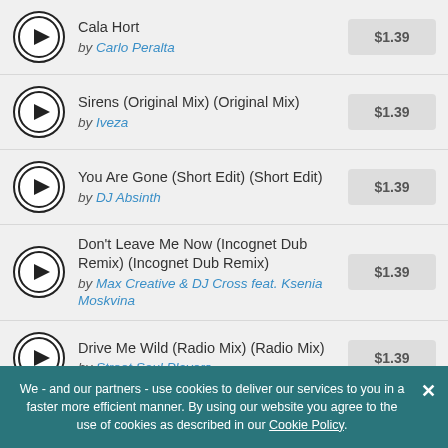Cala Hort by Carlo Peralta $1.39
Sirens (Original Mix) (Original Mix) by Iveza $1.39
You Are Gone (Short Edit) (Short Edit) by DJ Absinth $1.39
Don't Leave Me Now (Incognet Dub Remix) (Incognet Dub Remix) by Max Creative & DJ Cross feat. Ksenia Moskvina $1.39
Drive Me Wild (Radio Mix) (Radio Mix) by Street Soul Players $1.39
We - and our partners - use cookies to deliver our services to you in a faster more efficient manner. By using our website you agree to the use of cookies as described in our Cookie Policy.